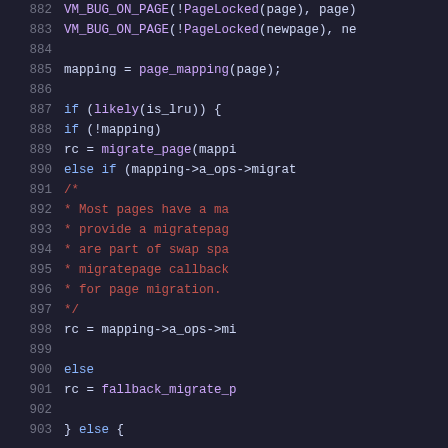[Figure (screenshot): Source code snippet showing Linux kernel page migration function, lines 882-903, displayed in a dark theme code editor with syntax highlighting. Line numbers in gray on left, keywords in blue, function names in purple, comments in red/dark red, plain code in light gray.]